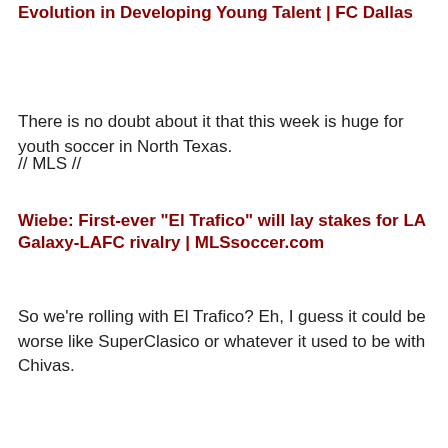Evolution in Developing Young Talent | FC Dallas
There is no doubt about it that this week is huge for youth soccer in North Texas.
// MLS //
Wiebe: First-ever "El Trafico" will lay stakes for LA Galaxy-LAFC rivalry | MLSsoccer.com
So we're rolling with El Trafico? Eh, I guess it could be worse like SuperClasico or whatever it used to be with Chivas.